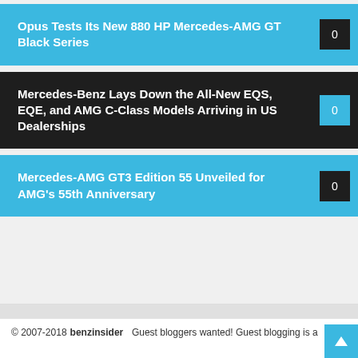Opus Tests Its New 880 HP Mercedes-AMG GT Black Series
Mercedes-Benz Lays Down the All-New EQS, EQE, and AMG C-Class Models Arriving in US Dealerships
Mercedes-AMG GT3 Edition 55 Unveiled for AMG’s 55th Anniversary
© 2007-2018 benzinsider   Guest bloggers wanted! Guest blogging is a